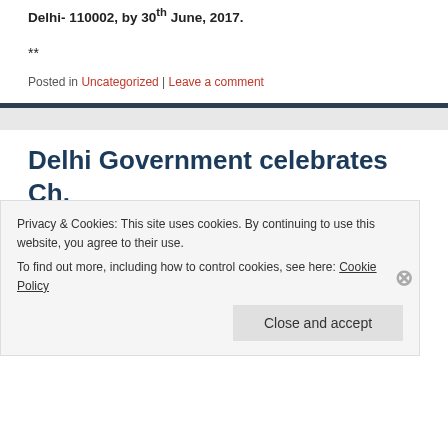Delhi- 110002, by 30th June, 2017.
**
Posted in Uncategorized | Leave a comment
Delhi Government celebrates Ch. Brahm Prakash. Delhi's first CM who
Privacy & Cookies: This site uses cookies. By continuing to use this website, you agree to their use. To find out more, including how to control cookies, see here: Cookie Policy